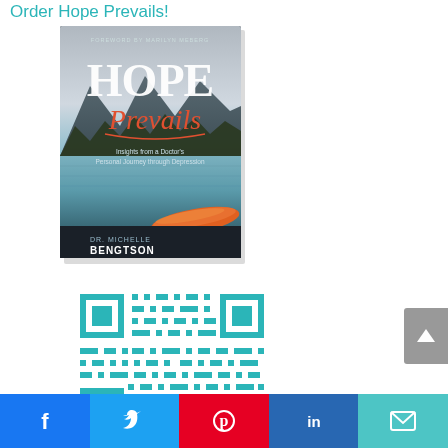Order Hope Prevails!
[Figure (photo): Book cover of 'Hope Prevails: Insights from a Doctor's Personal Journey through Depression' by Dr. Michelle Bengtson, with foreword by Marilyn Meberg. Cover shows a canoe on a misty lake with mountains in background.]
[Figure (other): QR code in teal/green color linking to order page for Hope Prevails book.]
[Figure (other): Social share buttons bar: Facebook, Twitter, Pinterest, LinkedIn, Email]